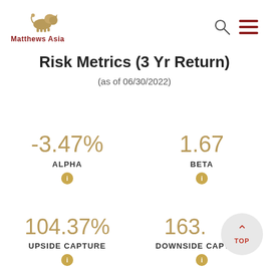[Figure (logo): Matthews Asia logo with lion illustration and red text]
Risk Metrics (3 Yr Return)
(as of 06/30/2022)
-3.47% ALPHA
1.67 BETA
104.37% UPSIDE CAPTURE
163. DOWNSIDE CAPTURE